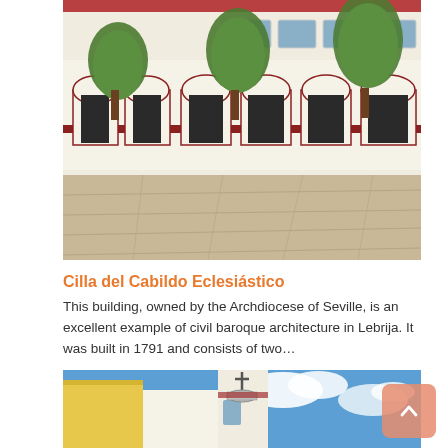[Figure (photo): Courtyard of a white Spanish colonial-style building with arched doorways trimmed in dark red, green trees, and a stone-paved plaza. Baroque civil architecture in Lebrija.]
Cilla del Cabildo Eclesiástico
This building, owned by the Archdiocese of Seville, is an excellent example of civil baroque architecture in Lebrija. It was built in 1791 and consists of two…
[Figure (photo): View looking up at a church tower with a cross against a blue sky with white clouds, and a yellow and white building facade visible.]